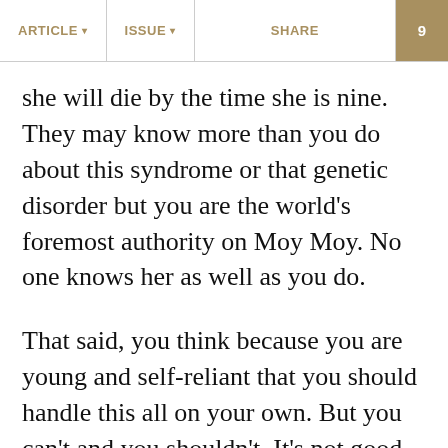ARTICLE ▾  |  ISSUE ▾  |  SHARE  |  9
she will die by the time she is nine. They may know more than you do about this syndrome or that genetic disorder but you are the world's foremost authority on Moy Moy. No one knows her as well as you do.
That said, you think because you are young and self-reliant that you should handle this all on your own. But you can't and you shouldn't. It's not good for you, it's not good for Moy Moy, and it's not